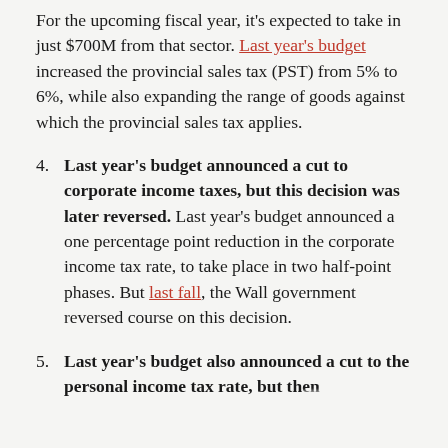For the upcoming fiscal year, it's expected to take in just $700M from that sector. Last year's budget increased the provincial sales tax (PST) from 5% to 6%, while also expanding the range of goods against which the provincial sales tax applies.
4. Last year's budget announced a cut to corporate income taxes, but this decision was later reversed. Last year's budget announced a one percentage point reduction in the corporate income tax rate, to take place in two half-point phases. But last fall, the Wall government reversed course on this decision.
5. Last year's budget also announced a cut to the personal income tax rate, but then...